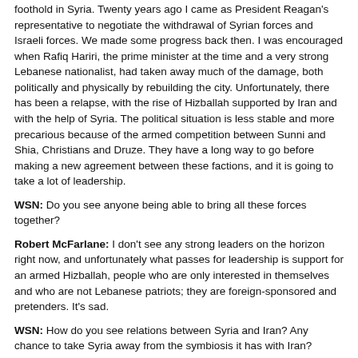foothold in Syria. Twenty years ago I came as President Reagan's representative to negotiate the withdrawal of Syrian forces and Israeli forces. We made some progress back then. I was encouraged when Rafiq Hariri, the prime minister at the time and a very strong Lebanese nationalist, had taken away much of the damage, both politically and physically by rebuilding the city. Unfortunately, there has been a relapse, with the rise of Hizballah supported by Iran and with the help of Syria. The political situation is less stable and more precarious because of the armed competition between Sunni and Shia, Christians and Druze. They have a long way to go before making a new agreement between these factions, and it is going to take a lot of leadership.
WSN: Do you see anyone being able to bring all these forces together?
Robert McFarlane: I don't see any strong leaders on the horizon right now, and unfortunately what passes for leadership is support for an armed Hizballah, people who are only interested in themselves and who are not Lebanese patriots; they are foreign-sponsored and pretenders. It's sad.
WSN: How do you see relations between Syria and Iran? Any chance to take Syria away from the symbiosis it has with Iran?
Robert McFarlane: There is a glimmer of hope there. And I hope the US is enlightened enough to see this possibility and put some real effort into negotiations with Syria. Undoubtedly, it would involve some sort of economic and political benefits for Syria, which would be fine if we can swing them away from this tutorial with Iran. One can even imagine, in a romantic moment, that you might have Israel involved to find a modus vivendi involving the return of